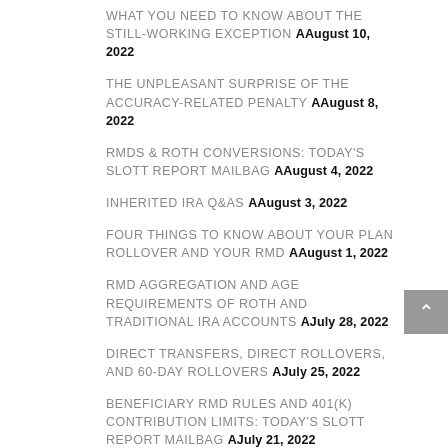WHAT YOU NEED TO KNOW ABOUT THE STILL-WORKING EXCEPTION AAugust 10, 2022
THE UNPLEASANT SURPRISE OF THE ACCURACY-RELATED PENALTY AAugust 8, 2022
RMDS & ROTH CONVERSIONS: TODAY'S SLOTT REPORT MAILBAG AAugust 4, 2022
INHERITED IRA Q&AS AAugust 3, 2022
FOUR THINGS TO KNOW ABOUT YOUR PLAN ROLLOVER AND YOUR RMD AAugust 1, 2022
RMD AGGREGATION AND AGE REQUIREMENTS OF ROTH AND TRADITIONAL IRA ACCOUNTS AJuly 28, 2022
DIRECT TRANSFERS, DIRECT ROLLOVERS, AND 60-DAY ROLLOVERS AJuly 25, 2022
BENEFICIARY RMD RULES AND 401(K) CONTRIBUTION LIMITS: TODAY'S SLOTT REPORT MAILBAG AJuly 21, 2022